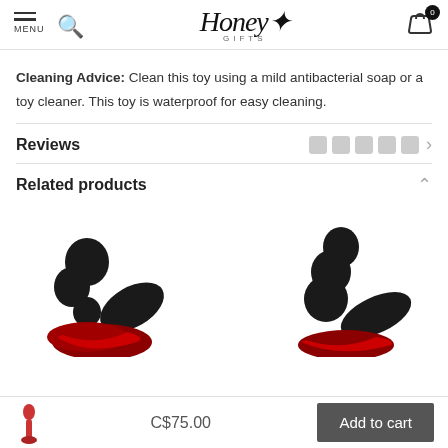Honey Gifts — MENU | Search | Cart (0)
Cleaning Advice: Clean this toy using a mild antibacterial soap or a toy cleaner. This toy is waterproof for easy cleaning.
Reviews
Related products
[Figure (photo): Two black adult toy products shown side by side as related products]
C$75.00
Add to cart